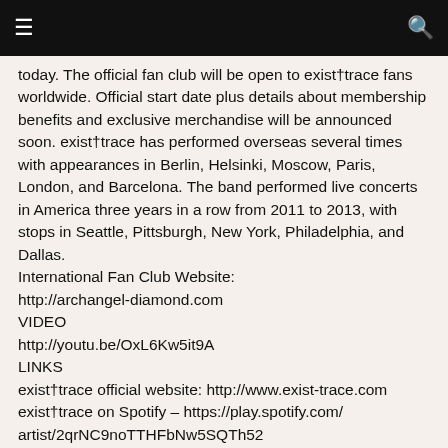☰  🔍
today. The official fan club will be open to exist†trace fans worldwide. Official start date plus details about membership benefits and exclusive merchandise will be announced soon. exist†trace has performed overseas several times with appearances in Berlin, Helsinki, Moscow, Paris, London, and Barcelona. The band performed live concerts in America three years in a row from 2011 to 2013, with stops in Seattle, Pittsburgh, New York, Philadelphia, and Dallas.
International Fan Club Website:
http://archangel-diamond.com
VIDEO
http://youtu.be/OxL6Kw5it9A
LINKS
exist†trace official website: http://www.exist-trace.com
exist†trace on Spotify – https://play.spotify.com/artist/2qrNC9noTTHFbNw5SQTh52
exist†trace on iTunes – https://itunes.apple.com/us/artist/exist-trace/id205643349
exist†trace official goods – http://www.jrockshop.com